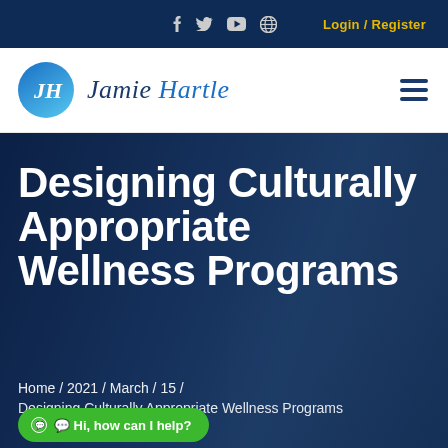f  🐦  You  🌐   Login / Register
[Figure (logo): Jamie Hartle logo: circular blue gradient icon with stylized 'JH' monogram, followed by cursive text 'Jamie Hartle']
Designing Culturally Appropriate Wellness Programs
Home / 2021 / March / 15 /
Designing Culturally Appropriate Wellness Programs
Hi, how can I help?